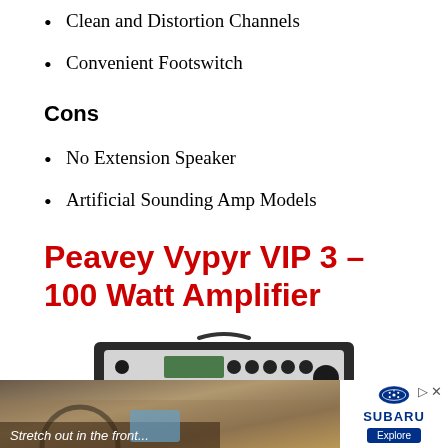Clean and Distortion Channels
Convenient Footswitch
Cons
No Extension Speaker
Artificial Sounding Amp Models
Peavey Vypyr VIP 3 – 100 Watt Amplifier
[Figure (photo): Photo of a Peavey Vypyr VIP 3 guitar amplifier head unit, black with knobs and digital display]
[Figure (photo): Subaru advertisement banner showing car interior with text 'Stretch out in the front...' and Subaru logo with Explore button]